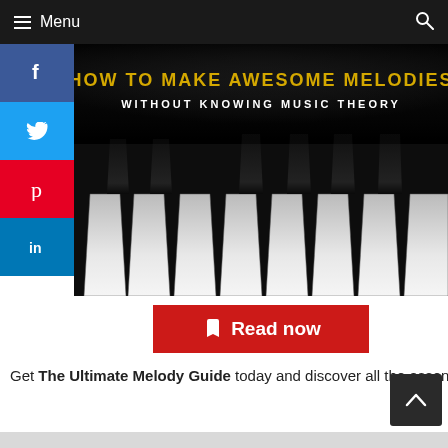Menu
[Figure (screenshot): Piano keyboard image with text overlay: 'HOW TO MAKE AWESOME MELODIES' in gold/yellow uppercase letters, and 'WITHOUT KNOWING MUSIC THEORY' in white uppercase letters below. Black and white piano keys fill the lower portion.]
[Figure (infographic): Social media share sidebar with Facebook (blue), Twitter (blue), Pinterest (red), LinkedIn (blue) icon buttons stacked vertically on the left side.]
Read now
Get The Ultimate Melody Guide today and discover all the essential tricks to make awesome melodies, even if you don't know anything about music theo...